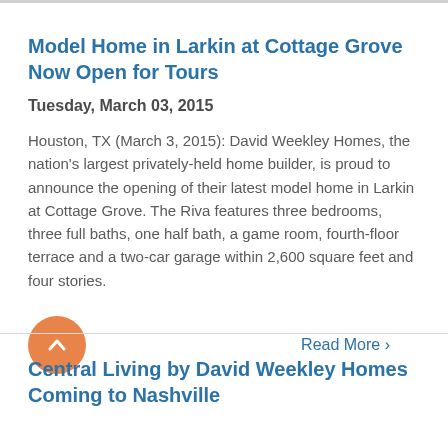Model Home in Larkin at Cottage Grove Now Open for Tours
Tuesday, March 03, 2015
Houston, TX (March 3, 2015): David Weekley Homes, the nation's largest privately-held home builder, is proud to announce the opening of their latest model home in Larkin at Cottage Grove. The Riva features three bedrooms, three full baths, one half bath, a game room, fourth-floor terrace and a two-car garage within 2,600 square feet and four stories.
Read More >
Central Living by David Weekley Homes Coming to Nashville